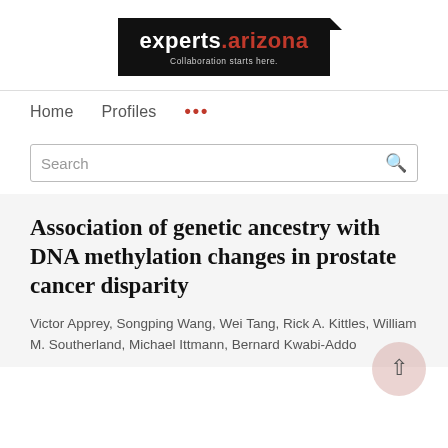[Figure (logo): experts.arizona logo on black background with tagline 'Collaboration starts here.']
Home   Profiles   ...
Search
Association of genetic ancestry with DNA methylation changes in prostate cancer disparity
Victor Apprey, Songping Wang, Wei Tang, Rick A. Kittles, William M. Southerland, Michael Ittmann, Bernard Kwabi-Addo